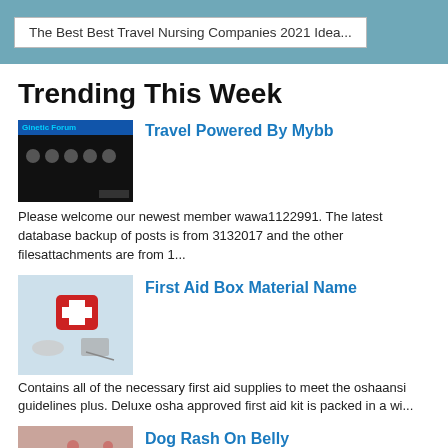The Best Best Travel Nursing Companies 2021 Idea...
Trending This Week
[Figure (screenshot): Dark themed forum screenshot thumbnail with blue banner and dots]
Travel Powered By Mybb
Please welcome our newest member wawa1122991. The latest database backup of posts is from 3132017 and the other filesattachments are from 1...
[Figure (photo): First aid kit with red cross, medical supplies, scissors]
First Aid Box Material Name
Contains all of the necessary first aid supplies to meet the oshaansi guidelines plus. Deluxe osha approved first aid kit is packed in a wi...
[Figure (photo): Dog belly with rash/skin condition, red spots visible]
Dog Rash On Belly
Corticosteroids or other newer medicines can help with itchy rashes. Heat rash in dogs usually appears on dogs...